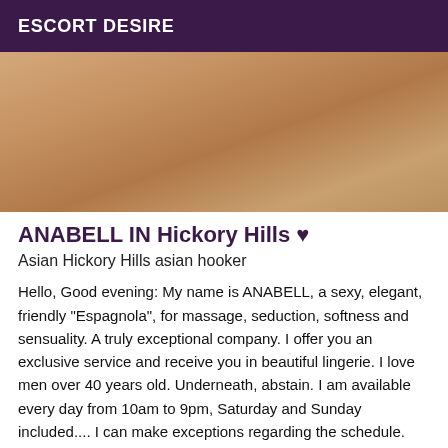ESCORT DESIRE
[Figure (photo): Close-up photo, warm skin tones, orange-brown background]
ANABELL IN Hickory Hills ♥
Asian Hickory Hills asian hooker
Hello, Good evening: My name is ANABELL, a sexy, elegant, friendly "Espagnola", for massage, seduction, softness and sensuality. A truly exceptional company. I offer you an exclusive service and receive you in beautiful lingerie. I love men over 40 years old. Underneath, abstain. I am available every day from 10am to 9pm, Saturday and Sunday included.... I can make exceptions regarding the schedule. You are smiling, respectful, serious, elegant, courteous, gentleman with a hygienic then we will be able to share a fascinating and unique moment! I am waiting for you